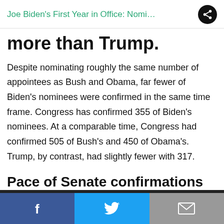Joe Biden's First Year in Office: Nomi…
more than Trump.
Despite nominating roughly the same number of appointees as Bush and Obama, far fewer of Biden's nominees were confirmed in the same time frame. Congress has confirmed 355 of Biden's nominees. At a comparable time, Congress had confirmed 505 of Bush's and 450 of Obama's. Trump, by contrast, had slightly fewer with 317.
Pace of Senate confirmations in a